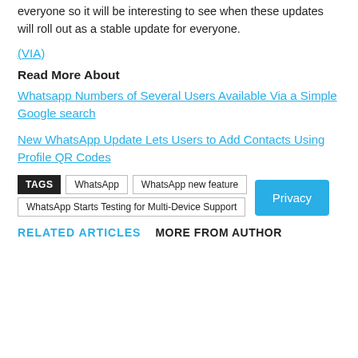everyone so it will be interesting to see when these updates will roll out as a stable update for everyone.
(VIA)
Read More About
Whatsapp Numbers of Several Users Available Via a Simple Google search
New WhatsApp Update Lets Users to Add Contacts Using Profile QR Codes
TAGS  WhatsApp  WhatsApp new feature  WhatsApp Starts Testing for Multi-Device Support
Privacy
RELATED ARTICLES   MORE FROM AUTHOR